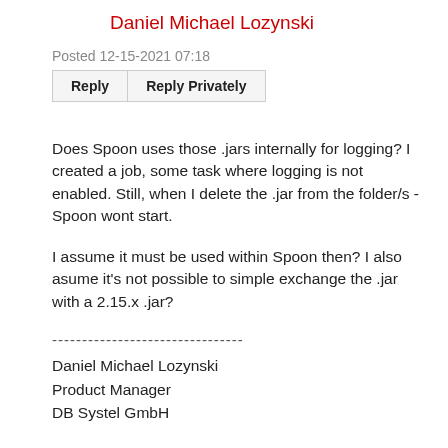Daniel Michael Lozynski
Posted 12-15-2021 07:18
| Reply | Reply Privately |
| --- | --- |
Does Spoon uses those .jars internally for logging? I created a job, some task where logging is not enabled. Still, when I delete the .jar from the folder/s - Spoon wont start.
I assume it must be used within Spoon then? I also asume it's not possible to simple exchange the .jar with a 2.15.x .jar?
--------------------------------
Daniel Michael Lozynski
Product Manager
DB Systel GmbH